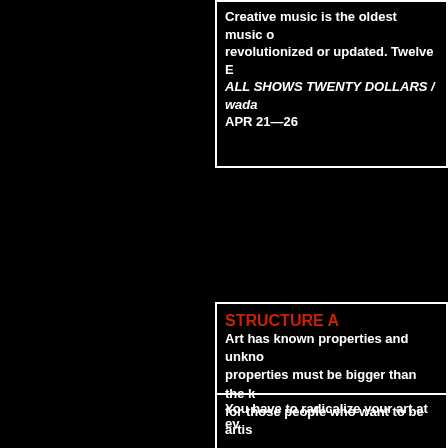Creative music is the oldest music on earth, never revolutionized or updated. Twelve E... ALL SHOWS TWENTY DOLLARS / wada... APR 21—26
STRUCTURE A
Art has known properties and unkno... properties must be bigger than the k... for those people who want to be artis...
4/21 Tuesday (EP)
8 pm
Creative Music 1: Solo Trumpet and S...
Wadada Leo Smith (trumpet) John Zorn (a...
TWENTY DOLLARS
10 pm
Procession of The Great Ancestry
Wadada Leo Smith (trumpet) Bobby Naug...
TWENTY DOLLARS
You have to radicalize your art at ev...